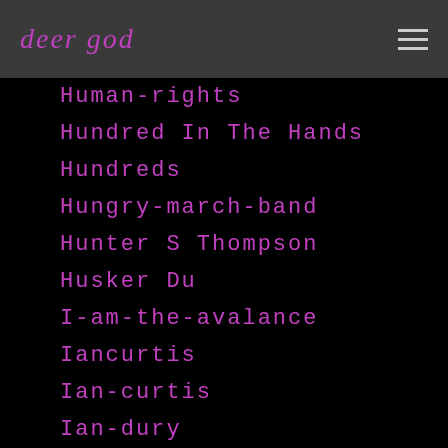deer god
Human-rights
Hundred In The Hands
Hundreds
Hungry-march-band
Hunter S Thompson
Husker Du
I-am-the-avalance
Iancurtis
Ian-curtis
Ian-dury
Ian Mackaye
Ian Paice
Ian-roberts
Iceage
Ice-cube
Iceland
Ice-T